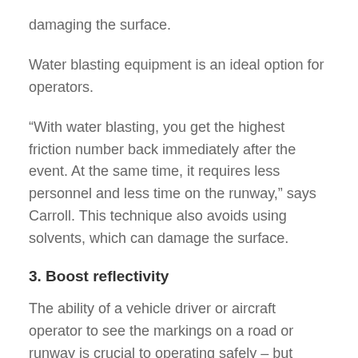damaging the surface.
Water blasting equipment is an ideal option for operators.
“With water blasting, you get the highest friction number back immediately after the event. At the same time, it requires less personnel and less time on the runway,” says Carroll. This technique also avoids using solvents, which can damage the surface.
3. Boost reflectivity
The ability of a vehicle driver or aircraft operator to see the markings on a road or runway is crucial to operating safely – but visibility can be limited by conditions such as low light or wet weather. Markings should therefore